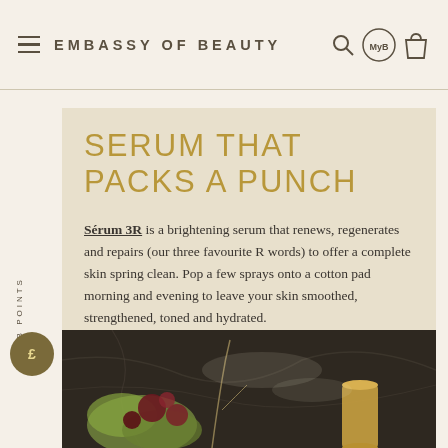EMBASSY OF BEAUTY
SERUM THAT PACKS A PUNCH
Sérum 3R is a brightening serum that renews, regenerates and repairs (our three favourite R words) to offer a complete skin spring clean. Pop a few sprays onto a cotton pad morning and evening to leave your skin smoothed, strengthened, toned and hydrated.
[Figure (photo): Photo of flowers and beauty product on a dark marble surface]